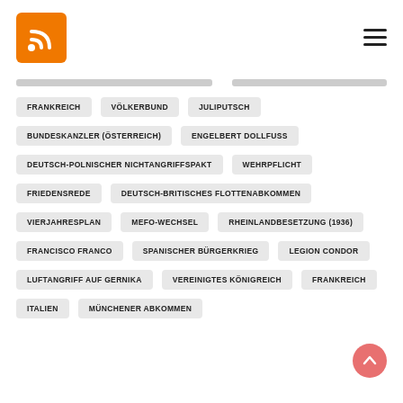[Figure (logo): Orange RSS feed logo square with white RSS wave icon]
[Figure (other): Hamburger menu icon (three horizontal lines)]
FRANKREICH
VÖLKERBUND
JULIPUTSCH
BUNDESKANZLER (ÖSTERREICH)
ENGELBERT DOLLFUSS
DEUTSCH-POLNISCHER NICHTANGRIFFSPAKT
WEHRPFLICHT
FRIEDENSREDE
DEUTSCH-BRITISCHES FLOTTENABKOMMEN
VIERJAHRESPLAN
MEFO-WECHSEL
RHEINLANDBESETZUNG (1936)
FRANCISCO FRANCO
SPANISCHER BÜRGERKRIEG
LEGION CONDOR
LUFTANGRIFF AUF GERNIKA
VEREINIGTES KÖNIGREICH
FRANKREICH
ITALIEN
MÜNCHENER ABKOMMEN